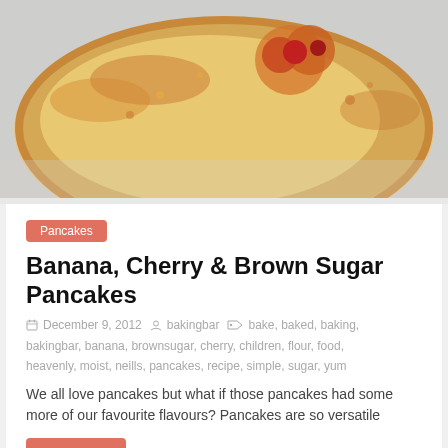[Figure (photo): Close-up photo of a golden-brown pancake on a white plate, with caramelized sugar and cherry topping visible]
Pancakes
Banana, Cherry & Brown Sugar Pancakes
December 9, 2012  bakingbar  bake, baked, baking, bakingbar, banana, brownsugar, cherry, children, flour, food, heavenly, moist, neills, pancakes, recipe, simple, sugar, yum
We all love pancakes but what if those pancakes had some more of our favourite flavours? Pancakes are so versatile
Read more